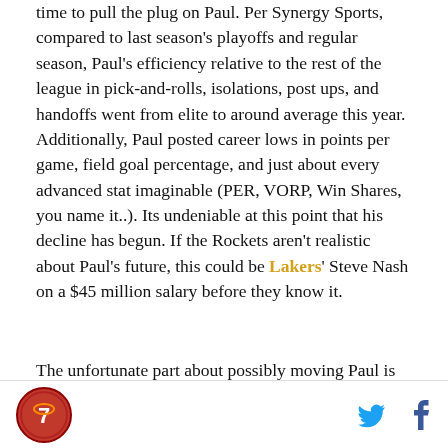time to pull the plug on Paul. Per Synergy Sports, compared to last season's playoffs and regular season, Paul's efficiency relative to the rest of the league in pick-and-rolls, isolations, post ups, and handoffs went from elite to around average this year. Additionally, Paul posted career lows in points per game, field goal percentage, and just about every advanced stat imaginable (PER, VORP, Win Shares, you name it..). Its undeniable at this point that his decline has begun. If the Rockets aren't realistic about Paul's future, this could be Lakers' Steve Nash on a $45 million salary before they know it.
The unfortunate part about possibly moving Paul is whether or not the Rockets' could get anything close to
[Figure (logo): Rockets fan site logo — red circle with stylized rocket graphic]